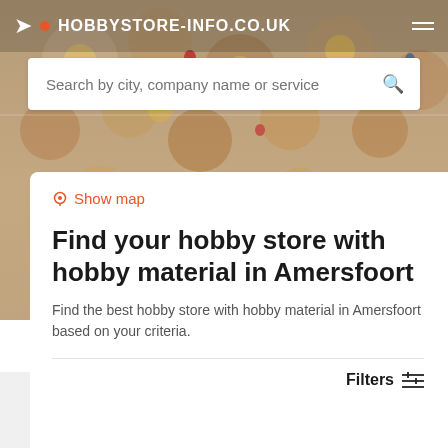HOBBYSTORE-INFO.CO.UK
Search by city, company name or service
Show map
Find your hobby store with hobby material in Amersfoort
Find the best hobby store with hobby material in Amersfoort based on your criteria.
Filters